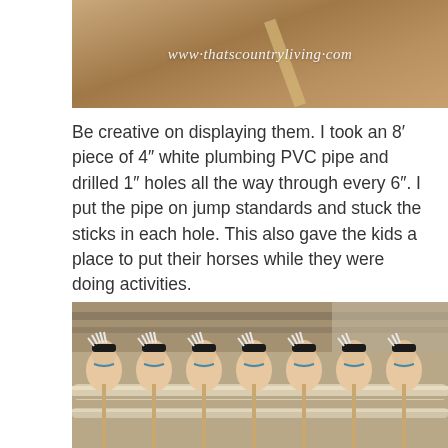[Figure (photo): Close-up of a horse's fur/coat with a bamboo stick, watermark text overlay reading www.thatscountryliving.com]
Be creative on displaying them. I took an 8′ piece of 4″ white plumbing PVC pipe and drilled 1″ holes all the way through every 6″. I put the pipe on jump standards and stuck the sticks in each hole. This also gave the kids a place to put their horses while they were doing activities.
[Figure (photo): Rows of handmade hobby horses (stick horses with fabric heads and yarn manes) lined up on a PVC pipe display rack in an outdoor barn setting]